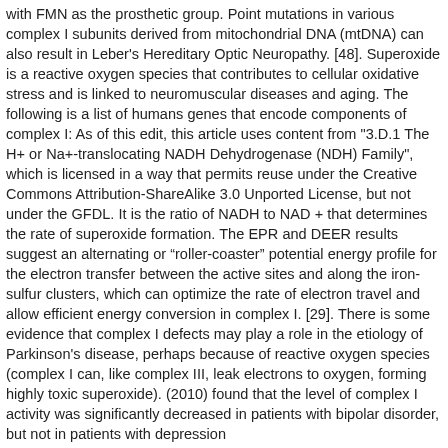with FMN as the prosthetic group. Point mutations in various complex I subunits derived from mitochondrial DNA (mtDNA) can also result in Leber's Hereditary Optic Neuropathy. [48]. Superoxide is a reactive oxygen species that contributes to cellular oxidative stress and is linked to neuromuscular diseases and aging. The following is a list of humans genes that encode components of complex I: As of this edit, this article uses content from "3.D.1 The H+ or Na+-translocating NADH Dehydrogenase (NDH) Family", which is licensed in a way that permits reuse under the Creative Commons Attribution-ShareAlike 3.0 Unported License, but not under the GFDL. It is the ratio of NADH to NAD + that determines the rate of superoxide formation. The EPR and DEER results suggest an alternating or “roller-coaster” potential energy profile for the electron transfer between the active sites and along the iron-sulfur clusters, which can optimize the rate of electron travel and allow efficient energy conversion in complex I. [29]. There is some evidence that complex I defects may play a role in the etiology of Parkinson's disease, perhaps because of reactive oxygen species (complex I can, like complex III, leak electrons to oxygen, forming highly toxic superoxide). (2010) found that the level of complex I activity was significantly decreased in patients with bipolar disorder, but not in patients with depression